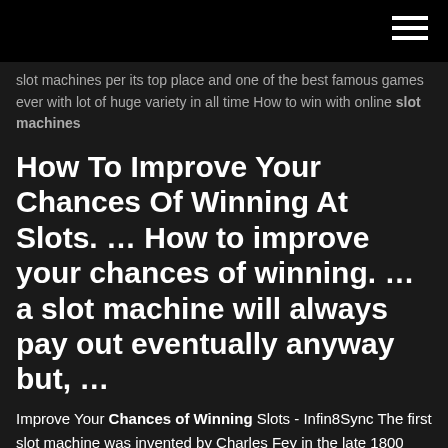≡ (hamburger menu icon)
slot machines per its top place and one of the best famous games ever with lot of huge variety in all time How to win with online slot machines
How To Improve Your Chances Of Winning At Slots. … How to improve your chances of winning. … a slot machine will always pay out eventually anyway but, …
Improve Your Chances of Winning Slots - Infin8Sync The first slot machine was invented by Charles Fey in the late 1800 and over the centuries boomed into incredible popularity Winning Tips on Playing Casino Slot Machines | Our